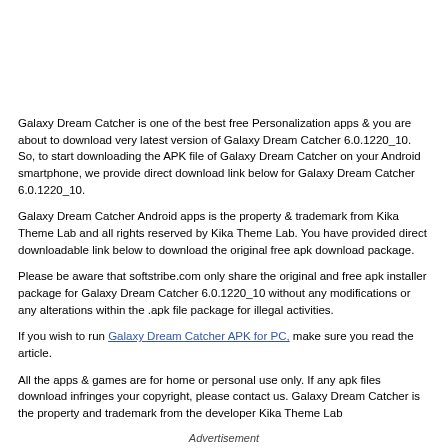Galaxy Dream Catcher is one of the best free Personalization apps & you are about to download very latest version of Galaxy Dream Catcher 6.0.1220_10. So, to start downloading the APK file of Galaxy Dream Catcher on your Android smartphone, we provide direct download link below for Galaxy Dream Catcher 6.0.1220_10.
Galaxy Dream Catcher Android apps is the property & trademark from Kika Theme Lab and all rights reserved by Kika Theme Lab. You have provided direct downloadable link below to download the original free apk download package.
Please be aware that softstribe.com only share the original and free apk installer package for Galaxy Dream Catcher 6.0.1220_10 without any modifications or any alterations within the .apk file package for illegal activities.
If you wish to run Galaxy Dream Catcher APK for PC, make sure you read the article.
All the apps & games are for home or personal use only. If any apk files download infringes your copyright, please contact us. Galaxy Dream Catcher is the property and trademark from the developer Kika Theme Lab
Advertisement